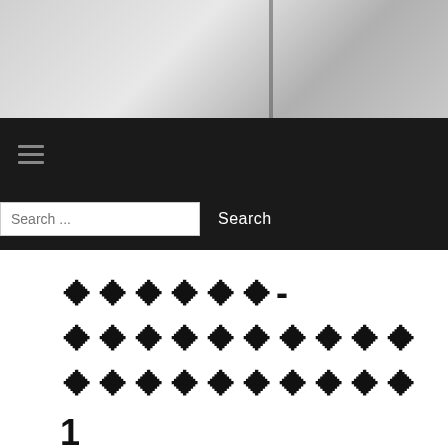[Figure (photo): Top banner image showing a blurred gray architectural or outdoor scene with a vertical dark element]
[Figure (screenshot): Black navigation bar with hamburger menu icon (three horizontal lines in gray)]
[Figure (screenshot): Black search bar area with white search input box containing 'Search ...' placeholder text, and 'Search' button label in white]
?????⁠?⁠?-⁠?????????⁠?⁠??⁠???⁠?⁠?⁠?⁠?
1
????????????
????|?????|???|???
2022-08-31-05:12 / HTTP://YAP-YAP.NET